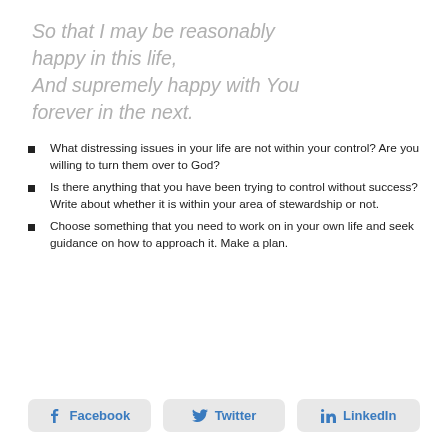So that I may be reasonably happy in this life, And supremely happy with You forever in the next.
What distressing issues in your life are not within your control? Are you willing to turn them over to God?
Is there anything that you have been trying to control without success? Write about whether it is within your area of stewardship or not.
Choose something that you need to work on in your own life and seek guidance on how to approach it. Make a plan.
Facebook  Twitter  LinkedIn